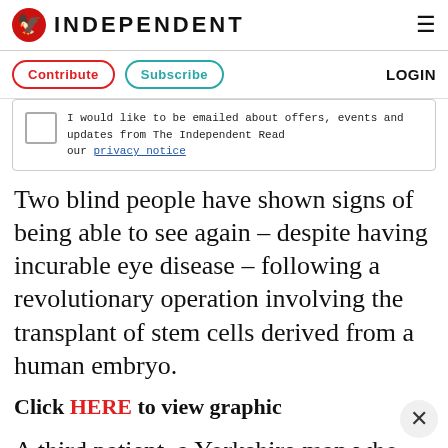INDEPENDENT
Contribute   Subscribe   LOGIN
I would like to be emailed about offers, events and updates from The Independent Read our privacy notice
Two blind people have shown signs of being able to see again – despite having incurable eye disease – following a revolutionary operation involving the transplant of stem cells derived from a human embryo.
Click HERE to view graphic
A third patient, a Yorkshire man who volunteered to take part in a similar trial in